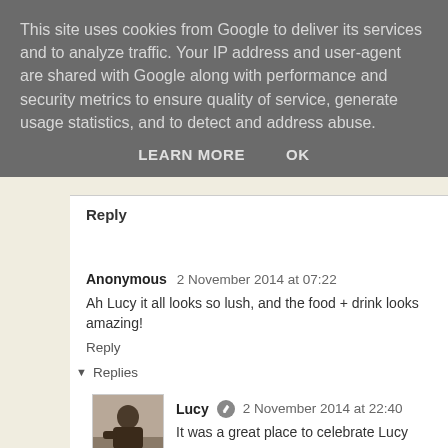This site uses cookies from Google to deliver its services and to analyze traffic. Your IP address and user-agent are shared with Google along with performance and security metrics to ensure quality of service, generate usage statistics, and to detect and address abuse.
LEARN MORE   OK
Reply
Anonymous  2 November 2014 at 07:22
Ah Lucy it all looks so lush, and the food + drink looks amazing!
Reply
▼  Replies
[Figure (photo): Small avatar photo of Lucy, a person seated at a table]
Lucy  2 November 2014 at 22:40
It was a great place to celebrate Lucy
Reply